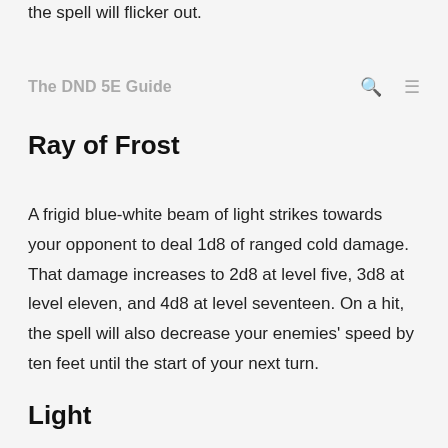twenty feet away from the root. If it's too far, the spell will flicker out.
The DND 5E Guide
Ray of Frost
A frigid blue-white beam of light strikes towards your opponent to deal 1d8 of ranged cold damage. That damage increases to 2d8 at level five, 3d8 at level eleven, and 4d8 at level seventeen. On a hit, the spell will also decrease your enemies' speed by ten feet until the start of your next turn.
Light